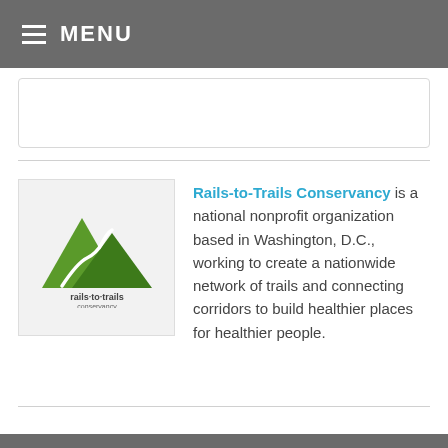MENU
[Figure (logo): Rails-to-Trails Conservancy logo: green mountain/trail shape with a winding white path, text 'rails-to-trails conservancy' below]
Rails-to-Trails Conservancy is a national nonprofit organization based in Washington, D.C., working to create a nationwide network of trails and connecting corridors to build healthier places for healthier people.
COMMENTS